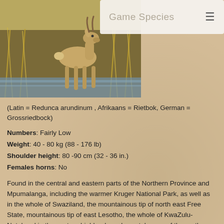[Figure (photo): A reedbuck antelope walking through water in tall grass vegetation]
Game Species
(Latin = Redunca arundinum , Afrikaans = Rietbok, German = Grossriedbock)
Numbers: Fairly Low
Weight: 40 - 80 kg (88 - 176 lb)
Shoulder height: 80 -90 cm (32 - 36 in.)
Females horns: No
Found in the central and eastern parts of the Northern Province and Mpumalanga, including the warmer Kruger National Park, as well as in the whole of Swaziland, the mountainous tip of north east Free State, mountainous tip of east Lesotho, the whole of KwaZulu-Natal,and in the eastern highlands and coastal areas of the northern Eastern Cape.
Much more at ease in the lower and especially wet areas, while still quite well equipped for the highlands, is the Reedbuck. The female